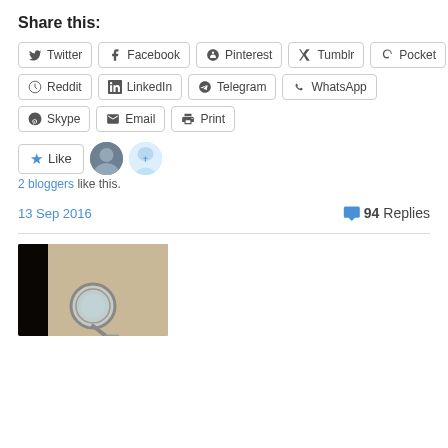Share this:
Twitter, Facebook, Pinterest, Tumblr, Pocket, Reddit, LinkedIn, Telegram, WhatsApp, Skype, Email, Print
[Figure (screenshot): Like button with star icon and two blogger avatars]
2 bloggers like this.
13 Sep 2016
94 Replies
[Figure (photo): A magnifying glass resting on an open book, photographed in dark ambient lighting]